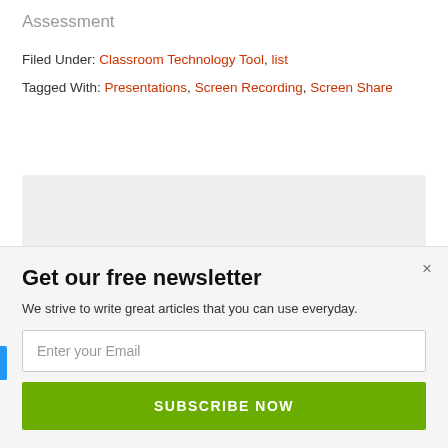Assessment
Filed Under: Classroom Technology Tool, list
Tagged With: Presentations, Screen Recording, Screen Share
[Figure (other): Gray placeholder box for an advertisement or image]
Get our free newsletter
We strive to write great articles that you can use everyday.
Enter your Email
SUBSCRIBE NOW